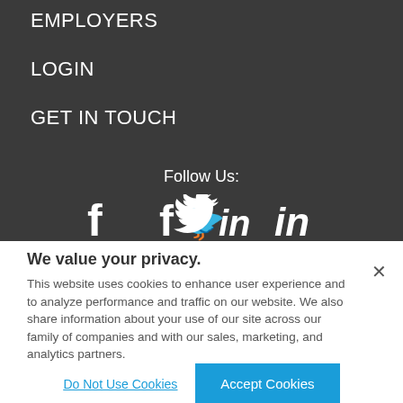EMPLOYERS
LOGIN
GET IN TOUCH
Follow Us:
[Figure (illustration): Social media icons: Facebook (f), Twitter (bird), LinkedIn (in)]
We value your privacy. This website uses cookies to enhance user experience and to analyze performance and traffic on our website. We also share information about your use of our site across our family of companies and with our sales, marketing, and analytics partners.
Do Not Use Cookies
Accept Cookies